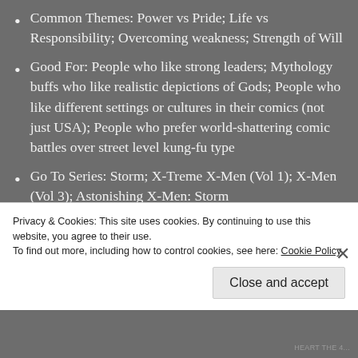Common Themes: Power vs Pride; Life vs Responsibility; Overcoming weakness; Strength of Will
Good For: People who like strong leaders; Mythology buffs who like realistic depictions of Gods; People who like different settings or cultures in their comics (not just USA); People who prefer world-shattering comic battles over street level kung-fu type
Go To Series: Storm; X-Treme X-Men (Vol 1); X-Men (Vol 3); Astonishing X-Men: Storm
Stand Out Stories: Rogue Storm; Lifedeath I & II;
Privacy & Cookies: This site uses cookies. By continuing to use this website, you agree to their use.
To find out more, including how to control cookies, see here: Cookie Policy
Close and accept